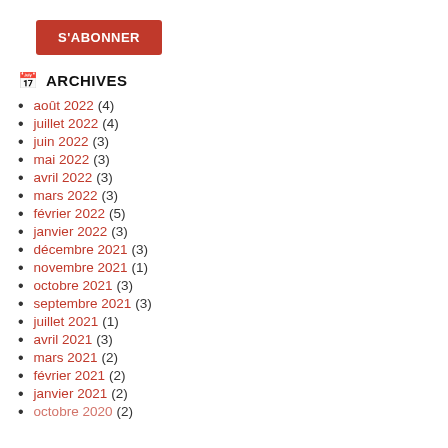S'ABONNER
ARCHIVES
août 2022 (4)
juillet 2022 (4)
juin 2022 (3)
mai 2022 (3)
avril 2022 (3)
mars 2022 (3)
février 2022 (5)
janvier 2022 (3)
décembre 2021 (3)
novembre 2021 (1)
octobre 2021 (3)
septembre 2021 (3)
juillet 2021 (1)
avril 2021 (3)
mars 2021 (2)
février 2021 (2)
janvier 2021 (2)
octobre 2020 (2)